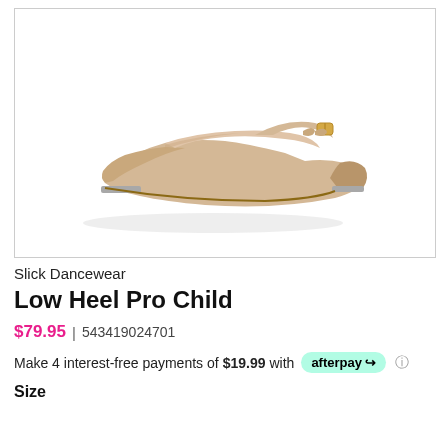[Figure (photo): A nude/beige children's tap dance shoe with low heel, Mary Jane strap with gold buckle, and metal tap plates on toe and heel. Shown in profile view on white background.]
Slick Dancewear
Low Heel Pro Child
$79.95 | 543419024701
Make 4 interest-free payments of $19.99 with afterpay ℹ
Size